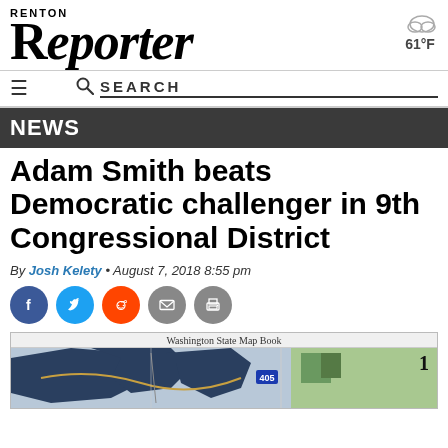RENTON REPORTER
61°F
SEARCH
NEWS
Adam Smith beats Democratic challenger in 9th Congressional District
By Josh Kelety • August 7, 2018 8:55 pm
[Figure (other): Social sharing icons: Facebook, Twitter, Reddit, Email, Print]
[Figure (map): Washington State Map Book showing congressional district map with number 1 in corner]